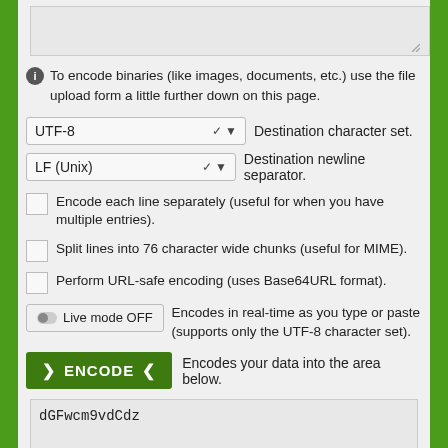[Figure (screenshot): Text input textarea (top, partially visible, empty with resize handle)]
To encode binaries (like images, documents, etc.) use the file upload form a little further down on this page.
[Figure (screenshot): Dropdown selector showing UTF-8 with label: Destination character set.]
[Figure (screenshot): Dropdown selector showing LF (Unix) with label: Destination newline separator.]
Encode each line separately (useful for when you have multiple entries).
Split lines into 76 character wide chunks (useful for MIME).
Perform URL-safe encoding (uses Base64URL format).
[Figure (screenshot): Toggle button: Live mode OFF — Encodes in real-time as you type or paste (supports only the UTF-8 character set).]
[Figure (screenshot): ENCODE button — green button with > ENCODE < label]
Encodes your data into the area below.
[Figure (screenshot): Output textarea containing: dGFwcm9vdCdz]